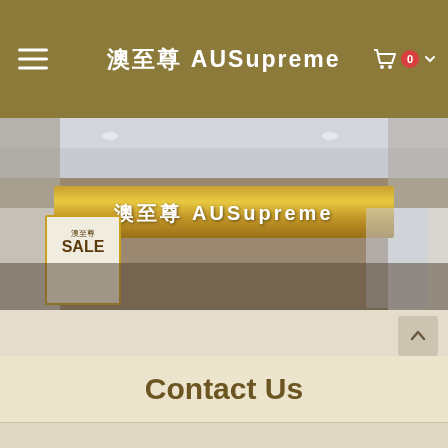澳至尊 AUSupreme
[Figure (photo): Interior storefront of 澳至尊 AUSupreme retail shop with gold illuminated sign banner reading '澳至尊 AUSupreme', ceiling lights, and a sale poster on the left side]
Contact Us